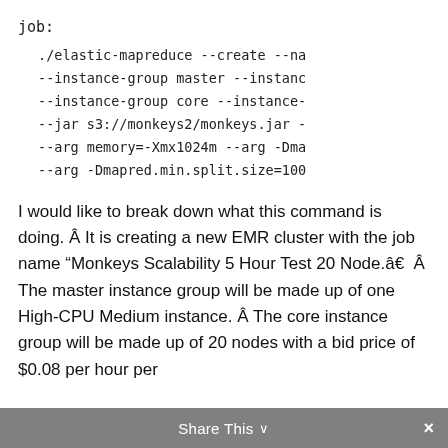job:
./elastic-mapreduce --create --na
--instance-group master --instanc
--instance-group core --instance-
--jar s3://monkeys2/monkeys.jar -
--arg memory=-Xmx1024m --arg -Dma
--arg -Dmapred.min.split.size=100
I would like to break down what this command is doing. Â It is creating a new EMR cluster with the job name “Monkeys Scalability 5 Hour Test 20 Node.â€  Â The master instance group will be made up of one High-CPU Medium instance. Â The core instance group will be made up of 20 nodes with a bid price of $0.08 per hour per
Share This